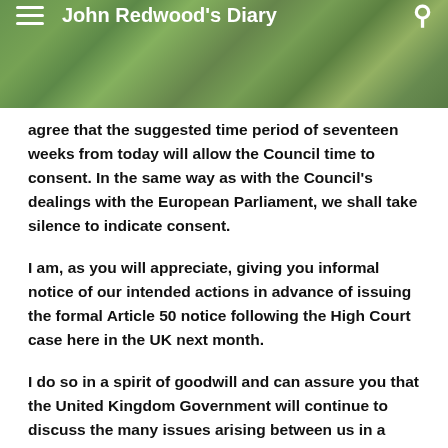John Redwood's Diary
agree that the suggested time period of seventeen weeks from today will allow the Council time to consent. In the same way as with the Council's dealings with the European Parliament, we shall take silence to indicate consent.
I am, as you will appreciate, giving you informal notice of our intended actions in advance of issuing the formal Article 50 notice following the High Court case here in the UK next month.
I do so in a spirit of goodwill and can assure you that the United Kingdom Government will continue to discuss the many issues arising between us in a friendly and cooperative manner. However, for the avoidance of doubt, we shall stop subsidising your organisation from the end of this year and